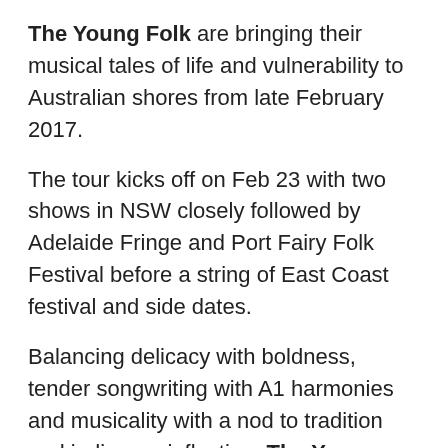The Young Folk are bringing their musical tales of life and vulnerability to Australian shores from late February 2017.
The tour kicks off on Feb 23 with two shows in NSW closely followed by Adelaide Fringe and Port Fairy Folk Festival before a string of East Coast festival and side dates.
Balancing delicacy with boldness, tender songwriting with A1 harmonies and musicality with a nod to tradition and indie-pop inflection, The Young Folk share an unmistakable Irish heritage in both sound and ancestry.
Consisting of a creative triangle with Anthony Furey (the next generation of the Internationally renowned The Furey Brothers family) at its apex joined by Paul Butler (a direct descendent of the legendary Dublin based Bourke /